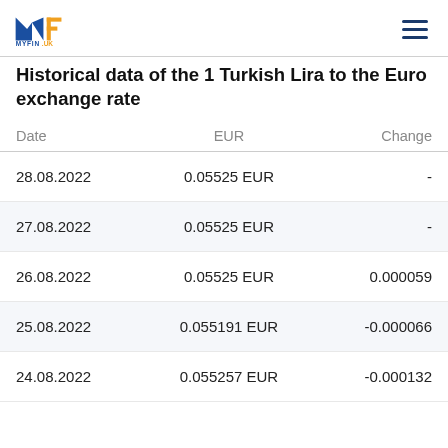MYFIN.UK
Historical data of the 1 Turkish Lira to the Euro exchange rate
| Date | EUR | Change |
| --- | --- | --- |
| 28.08.2022 | 0.05525 EUR | - |
| 27.08.2022 | 0.05525 EUR | - |
| 26.08.2022 | 0.05525 EUR | 0.000059 |
| 25.08.2022 | 0.055191 EUR | -0.000066 |
| 24.08.2022 | 0.055257 EUR | -0.000132 |